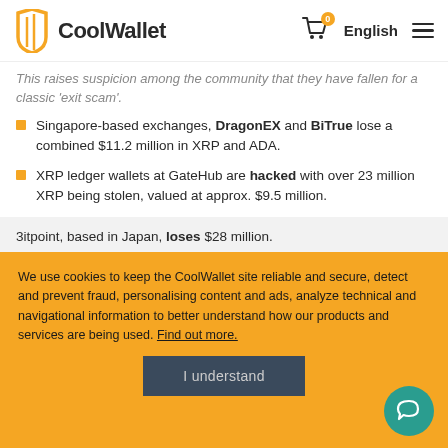CoolWallet — English
This raises suspicion among the community that they have fallen for a classic 'exit scam'.
Singapore-based exchanges, DragonEX and BiTrue lose a combined $11.2 million in XRP and ADA.
XRP ledger wallets at GateHub are hacked with over 23 million XRP being stolen, valued at approx. $9.5 million.
3itpoint, based in Japan, loses $28 million.
Jpbit, based in Korea, loses $49 million.
We use cookies to keep the CoolWallet site reliable and secure, detect and prevent fraud, personalising content and ads, analyze technical and navigational information to better understand how our products and services are being used. Find out more.